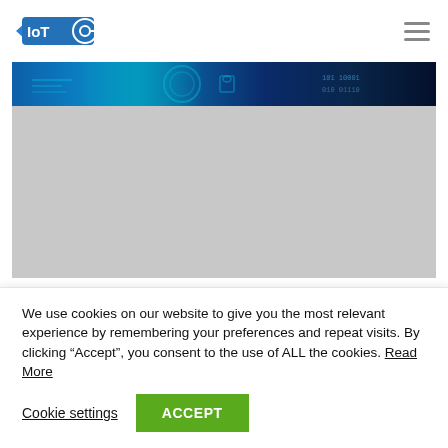[Figure (logo): IoT Analytics logo with stylized 'IoT' text and circular antenna icon in blue]
[Figure (illustration): Hero banner image with dark blue cybersecurity/IoT digital background showing circuit patterns and binary code, top portion visible with grey placeholder below]
Insights
European IoT Certification
We use cookies on our website to give you the most relevant experience by remembering your preferences and repeat visits. By clicking “Accept”, you consent to the use of ALL the cookies. Read More
Cookie settings
ACCEPT